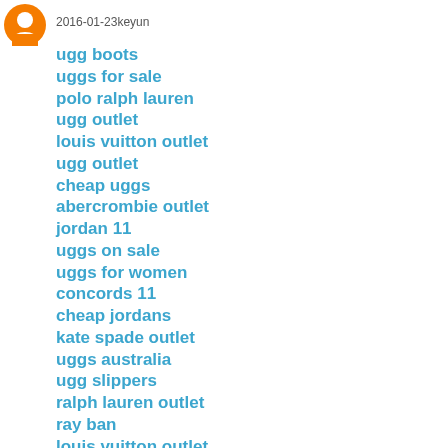[Figure (illustration): Orange circular avatar icon with white person silhouette]
2016-01-23keyun
ugg boots
uggs for sale
polo ralph lauren
ugg outlet
louis vuitton outlet
ugg outlet
cheap uggs
abercrombie outlet
jordan 11
uggs on sale
uggs for women
concords 11
cheap jordans
kate spade outlet
uggs australia
ugg slippers
ralph lauren outlet
ray ban
louis vuitton outlet
nike air huarache
fake oakley sunglasses